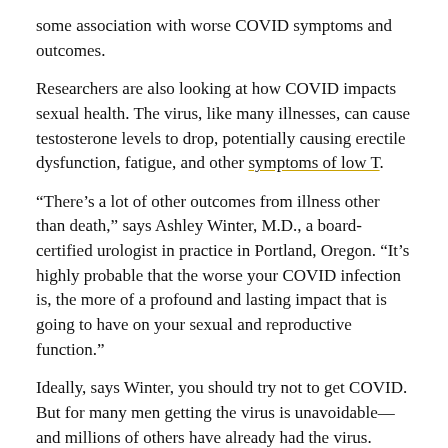some association with worse COVID symptoms and outcomes.
Researchers are also looking at how COVID impacts sexual health. The virus, like many illnesses, can cause testosterone levels to drop, potentially causing erectile dysfunction, fatigue, and other symptoms of low T.
“There’s a lot of other outcomes from illness other than death,” says Ashley Winter, M.D., a board-certified urologist in practice in Portland, Oregon. “It’s highly probable that the worse your COVID infection is, the more of a profound and lasting impact that is going to have on your sexual and reproductive function.”
Ideally, says Winter, you should try not to get COVID. But for many men getting the virus is unavoidable—and millions of others have already had the virus.
Here’s what researchers have learned so far about COVID and testosterone, and what they’re looking at next.